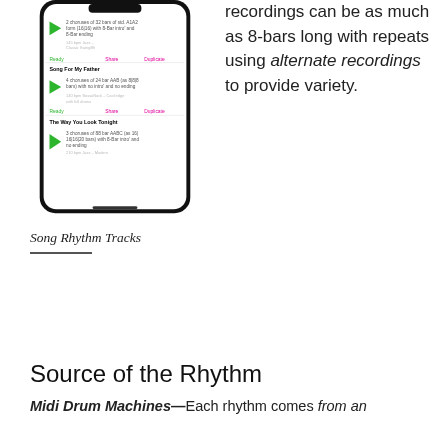[Figure (screenshot): iPhone mockup showing Song Rhythm Tracks app with three song entries: unnamed song with 2 choruses of 32 bars of std. A1A2 form (16|16) with 8-Bar intro and 8-Bar ending at 145 bpm Jazz – Classic SwingBh; Song For My Father with 4 choruses of 24 bar AAB (as 8|8|8 bars) with no intro and no ending at 140 bpm BossaNock – Cool edge with full drums; The Way You Look Tonight with 3 choruses of 88 bar AABC (as 16|16|16|20 bars) with 8-Bar intro and no ending at 210 bpm Jazz – Modern.]
recordings can be as much as 8-bars long with repeats using alternate recordings to provide variety.
Song Rhythm Tracks
Source of the Rhythm
Midi Drum Machines—Each rhythm comes from an